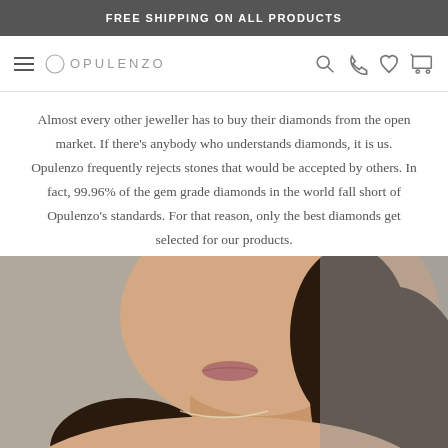FREE SHIPPING ON ALL PRODUCTS
[Figure (logo): Opulenzo logo with circle and hamburger menu icon, plus search, phone, heart, and cart icons]
Almost every other jeweller has to buy their diamonds from the open market. If there's anybody who understands diamonds, it is us. Opulenzo frequently rejects stones that would be accepted by others. In fact, 99.96% of the gem grade diamonds in the world fall short of Opulenzo's standards. For that reason, only the best diamonds get selected for our products.
[Figure (photo): Close-up photo of a woman's neck and lower face wearing a diamond necklace, with dark hair visible]